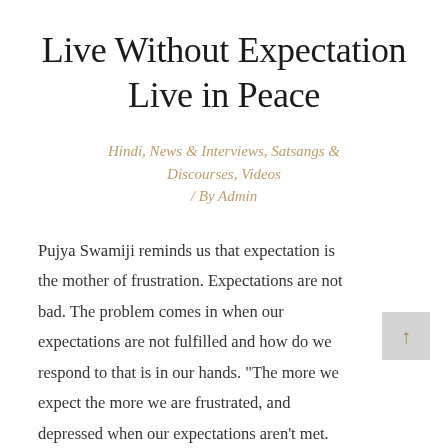Live Without Expectation Live in Peace
Hindi, News & Interviews, Satsangs & Discourses, Videos / By Admin
Pujya Swamiji reminds us that expectation is the mother of frustration. Expectations are not bad. The problem comes in when our expectations are not fulfilled and how do we respond to that is in our hands. "The more we expect the more we are frustrated, and depressed when our expectations aren't met.